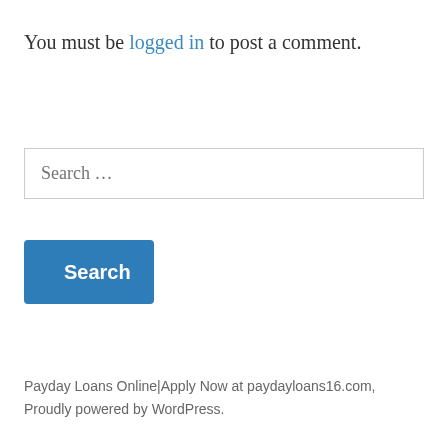You must be logged in to post a comment.
Search …
Search
Payday Loans Online|Apply Now at paydayloans16.com, Proudly powered by WordPress.